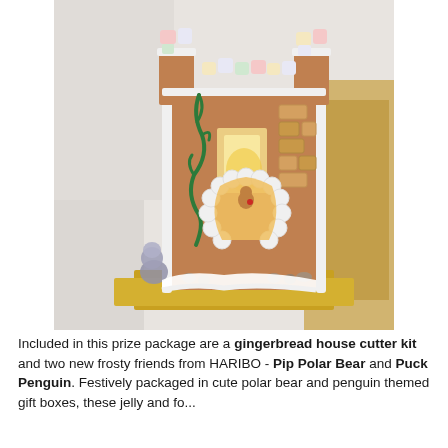[Figure (photo): A decorated gingerbread castle/house with white icing, colorful marshmallows on top battlements, circular candy arch doorway with a small glowing figure inside, candy brick decorations on the wall, green icing vine design, and small candy figurine at the base. Set on a gold/yellow board.]
Included in this prize package are a gingerbread house cutter kit and two new frosty friends from HARIBO - Pip Polar Bear and Puck Penguin. Festively packaged in cute polar bear and penguin themed gift boxes, these jelly and fo...